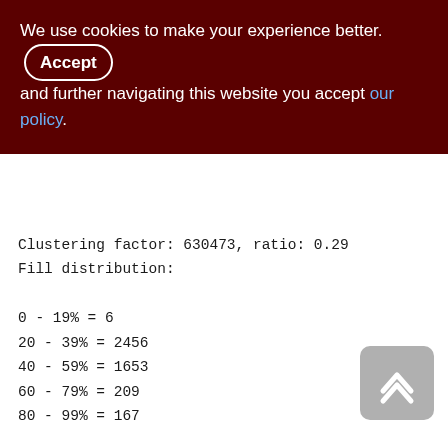We use cookies to make your experience better. By accepting and further navigating this website you accept our policy.
Clustering factor: 630473, ratio: 0.29
Fill distribution:
0 - 19% = 6
20 - 39% = 2456
40 - 59% = 1653
60 - 79% = 209
80 - 99% = 167
XQS_1000_1200 (265)
Primary pointer page: 740, Index root page: 741
Total formats: 1, used formats: 1